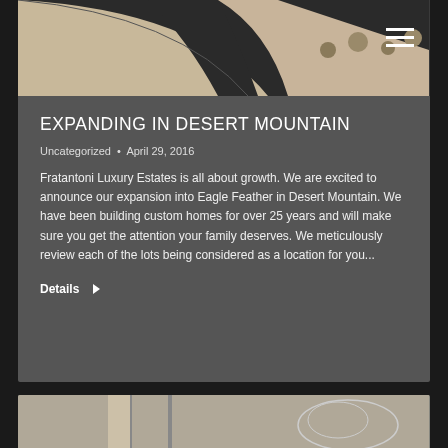[Figure (photo): Top-down view of a curved dark asphalt road with desert vegetation and sandy shoulder. A hamburger menu icon (three white horizontal bars) is overlaid in the top-right corner.]
EXPANDING IN DESERT MOUNTAIN
Uncategorized • April 29, 2016
Fratantoni Luxury Estates is all about growth. We are excited to announce our expansion into Eagle Feather in Desert Mountain. We have been building custom homes for over 25 years and will make sure you get the attention your family deserves. We meticulously review each of the lots being considered as a location for you...
Details ▶
[Figure (photo): Partially visible bottom card showing an interior design or decorative image.]